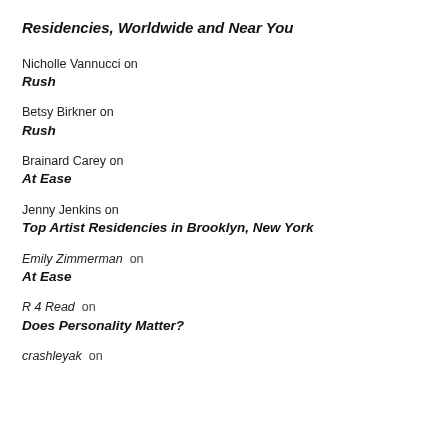Residencies, Worldwide and Near You
Nicholle Vannucci on Rush
Betsy Birkner on Rush
Brainard Carey on At Ease
Jenny Jenkins on Top Artist Residencies in Brooklyn, New York
Emily Zimmerman on At Ease
R 4 Read on Does Personality Matter?
crashleyak on